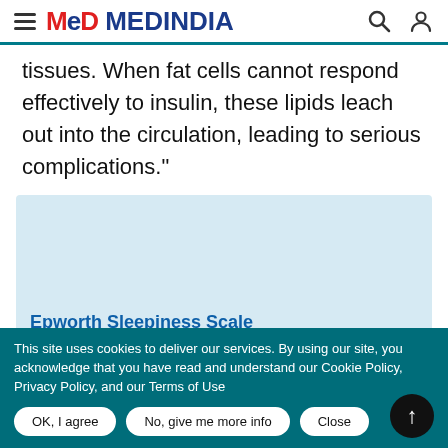MeD MEDINDIA
tissues. When fat cells cannot respond effectively to insulin, these lipids leach out into the circulation, leading to serious complications."
[Figure (other): Light blue widget placeholder box with a link label 'Epworth Sleepiness Scale' at the bottom]
This site uses cookies to deliver our services. By using our site, you acknowledge that you have read and understand our Cookie Policy, Privacy Policy, and our Terms of Use
OK, I agree   No, give me more info   Close